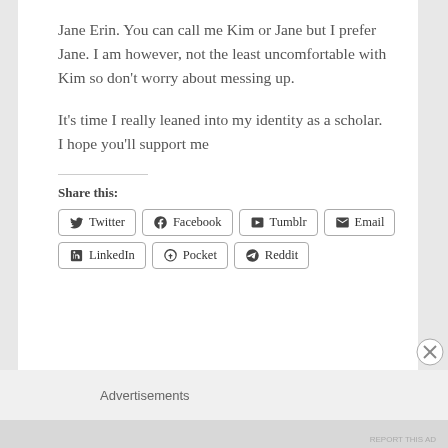Jane Erin. You can call me Kim or Jane but I prefer Jane. I am however, not the least uncomfortable with Kim so don't worry about messing up.

It's time I really leaned into my identity as a scholar. I hope you'll support me
Share this:
Twitter  Facebook  Tumblr  Email  LinkedIn  Pocket  Reddit
Advertisements